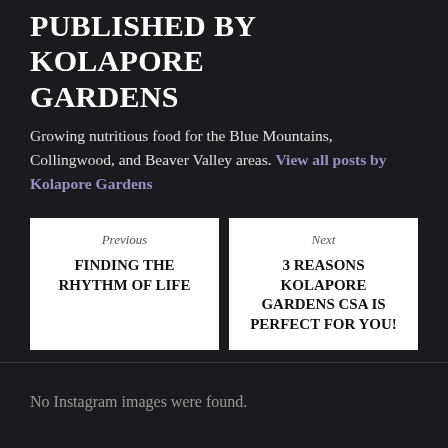PUBLISHED BY KOLAPORE GARDENS
Growing nutritious food for the Blue Mountains, Collingwood, and Beaver Valley areas. View all posts by Kolapore Gardens
Previous
FINDING THE RHYTHM OF LIFE
Next
3 REASONS KOLAPORE GARDENS CSA IS PERFECT FOR YOU!
No Instagram images were found.